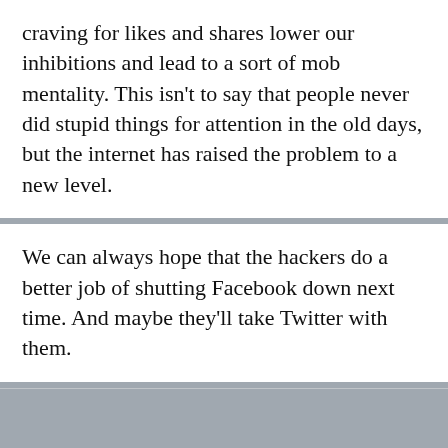craving for likes and shares lower our inhibitions and lead to a sort of mob mentality. This isn't to say that people never did stupid things for attention in the old days, but the internet has raised the problem to a new level.
We can always hope that the hackers do a better job of shutting Facebook down next time. And maybe they'll take Twitter with them.
Finally, in an unsigned announcement, MAGA Again became the “only Trump approved Super PAC.” While the announcement did not mention a 2024 campaign by Donald Trump, It seems certain that it was made to